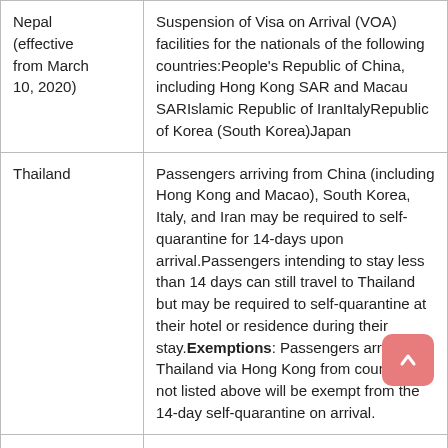| Country | Measure |
| --- | --- |
| Nepal (effective from March 10, 2020) | Suspension of Visa on Arrival (VOA) facilities for the nationals of the following countries:People's Republic of China, including Hong Kong SAR and Macau SARIslamic Republic of IranItalyRepublic of Korea (South Korea)Japan |
| Thailand | Passengers arriving from China (including Hong Kong and Macao), South Korea, Italy, and Iran may be required to self-quarantine for 14-days upon arrival.Passengers intending to stay less than 14 days can still travel to Thailand but may be required to self-quarantine at their hotel or residence during their stay.Exemptions: Passengers arriving in Thailand via Hong Kong from countries not listed above will be exempt from the 14-day self-quarantine on arrival. |
|  | For flights to The Philippines, Passengers... |